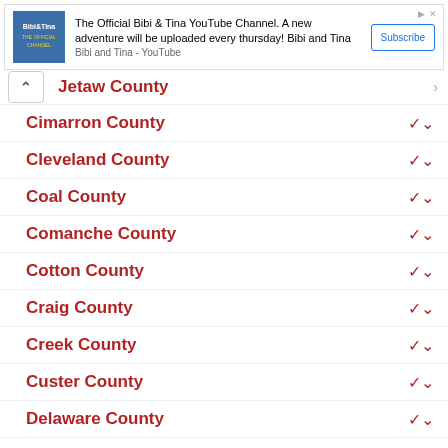[Figure (screenshot): YouTube advertisement banner for Bibi and Tina channel with Subscribe button]
Jetaw County
Cimarron County
Cleveland County
Coal County
Comanche County
Cotton County
Craig County
Creek County
Custer County
Delaware County